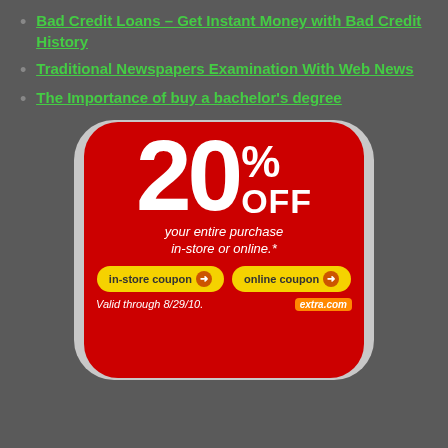Bad Credit Loans – Get Instant Money with Bad Credit History
Traditional Newspapers Examination With Web News
The Importance of buy a bachelor's degree
[Figure (infographic): CVS/pharmacy 20% OFF your entire purchase in-store or online coupon ad. Red rounded rectangle with white text '20% OFF your entire purchase in-store or online.*'. Two yellow buttons: 'in-store coupon' and 'online coupon' with orange arrow icons. Bottom text 'Valid through 8/29/10.' and extra.com logo.]